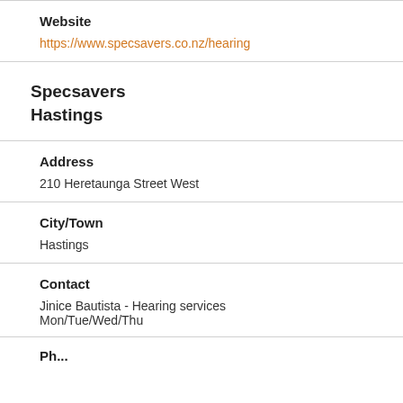Website
https://www.specsavers.co.nz/hearing
Specsavers Hastings
Address
210 Heretaunga Street West
City/Town
Hastings
Contact
Jinice Bautista - Hearing services Mon/Tue/Wed/Thu
Ph...